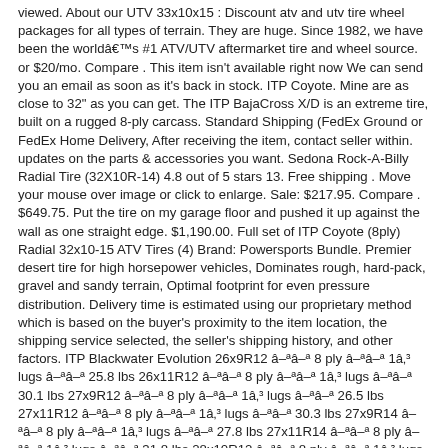viewed. About our UTV 33x10x15 : Discount atv and utv tire wheel packages for all types of terrain. They are huge. Since 1982, we have been the worldâs #1 ATV/UTV aftermarket tire and wheel source. or $20/mo. Compare . This item isn't available right now We can send you an email as soon as it's back in stock. ITP Coyote. Mine are as close to 32" as you can get. The ITP BajaCross X/D is an extreme tire, built on a rugged 8-ply carcass. Standard Shipping (FedEx Ground or FedEx Home Delivery, After receiving the item, contact seller within. updates on the parts & accessories you want. Sedona Rock-A-Billy Radial Tire (32X10R-14) 4.8 out of 5 stars 13. Free shipping . Move your mouse over image or click to enlarge. Sale: $217.95. Compare . $649.75. Put the tire on my garage floor and pushed it up against the wall as one straight edge. $1,190.00. Full set of ITP Coyote (8ply) Radial 32x10-15 ATV Tires (4) Brand: Powersports Bundle. Premier desert tire for high horsepower vehicles, Dominates rough, hard-pack, gravel and sandy terrain, Optimal footprint for even pressure distribution. Delivery time is estimated using our proprietary method which is based on the buyer's proximity to the item location, the shipping service selected, the seller's shipping history, and other factors. ITP Blackwater Evolution 26x9R12 âªâª 8 ply âªâª 1â³ lugs âªâª 25.8 lbs 26x11R12 âªâª 8 ply âªâª 1â³ lugs âªâª 30.1 lbs 27x9R12 âªâª 8 ply âªâª 1â³ lugs âªâª 26.5 lbs 27x11R12 âªâª 8 ply âªâª 1â³ lugs âªâª 30.3 lbs 27x9R14 âªâª 8 ply âªâª 1â³ lugs âªâª 27.8 lbs 27x11R14 âªâª 8 ply âªâª 1â³ lugs âªâª 31.8 lbs 28x10R12 âªâª 8 ply âªâª 1â³ lugs âªâª 31.8 lbs Availability: Out of stock. 110.24 . room. Used (normal wear), Brand New never used UTV Tires. ITP Coyote Front/Rear Tire. Specifically designed for high horsepower UTV & SxS vehicles the 8 ply rated Coyote tire is a radial